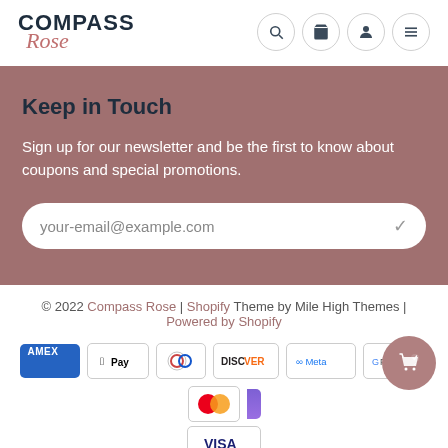Compass Rose — logo and navigation icons (search, cart, account, menu)
Keep in Touch
Sign up for our newsletter and be the first to know about coupons and special promotions.
your-email@example.com
© 2022 Compass Rose | Shopify Theme by Mile High Themes | Powered by Shopify
[Figure (other): Payment method logos: American Express, Apple Pay, Diners Club, Discover, Meta Pay, Google Pay, Mastercard, Visa]